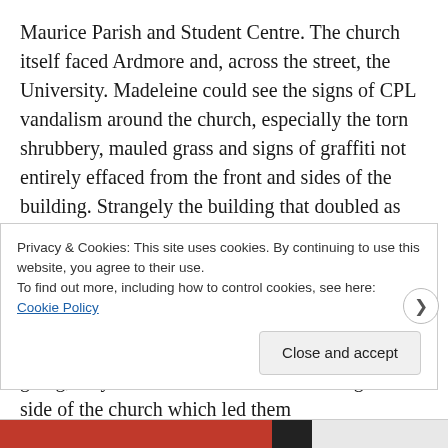Maurice Parish and Student Centre. The church itself faced Ardmore and, across the street, the University. Madeleine could see the signs of CPL vandalism around the church, especially the torn shrubbery, mauled grass and signs of graffiti not entirely effaced from the front and sides of the building. Strangely the building that doubled as the parish hall and student centre was behind the church and away from the University whose Catholic students it supposedly served. But it was neither a parish function nor a meeting of the Newman Association where the three women were going; they went down the side walk along the left side of the church which led them
Privacy & Cookies: This site uses cookies. By continuing to use this website, you agree to their use.
To find out more, including how to control cookies, see here: Cookie Policy
Close and accept